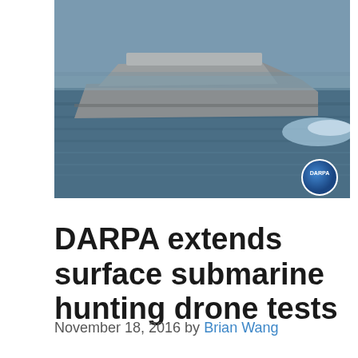[Figure (photo): Photograph of a DARPA autonomous surface vessel (submarine hunting drone) on water, with a DARPA logo badge in the lower right corner of the image.]
DARPA extends surface submarine hunting drone tests
November 18, 2016 by Brian Wang